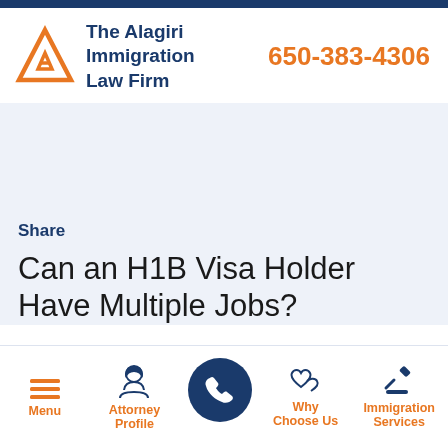[Figure (logo): The Alagiri Immigration Law Firm logo with orange triangle/A icon and dark blue text]
650-383-4306
Share
Can an H1B Visa Holder Have Multiple Jobs?
[Figure (infographic): Bottom navigation bar with Menu (hamburger icon), Attorney Profile (person icon), phone call button (dark blue circle with phone icon), Why Choose Us (handshake icon), Immigration Services (gavel icon)]